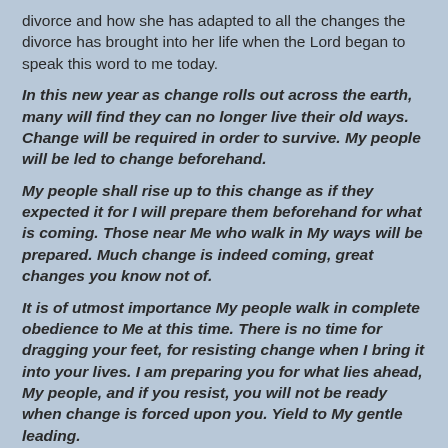divorce and how she has adapted to all the changes the divorce has brought into her life when the Lord began to speak this word to me today.
In this new year as change rolls out across the earth, many will find they can no longer live their old ways. Change will be required in order to survive. My people will be led to change beforehand.
My people shall rise up to this change as if they expected it for I will prepare them beforehand for what is coming. Those near Me who walk in My ways will be prepared. Much change is indeed coming, great changes you know not of.
It is of utmost importance My people walk in complete obedience to Me at this time. There is no time for dragging your feet, for resisting change when I bring it into your lives. I am preparing you for what lies ahead, My people, and if you resist, you will not be ready when change is forced upon you. Yield to My gentle leading.
A time of much chaos is approaching in the world.